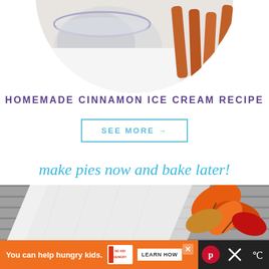[Figure (photo): Top portion of circular photo showing a glass bowl with what appears to be cream or ice cream base, and cinnamon sticks on a white cloth background]
HOMEMADE CINNAMON ICE CREAM RECIPE
SEE MORE →
make pies now and bake later!
[Figure (photo): Wide banner photo showing a white kitchen cloth/towel on a grey wooden surface with orange and red autumn leaves on the right side]
You can help hungry kids. NO KID HUNGRY LEARN HOW